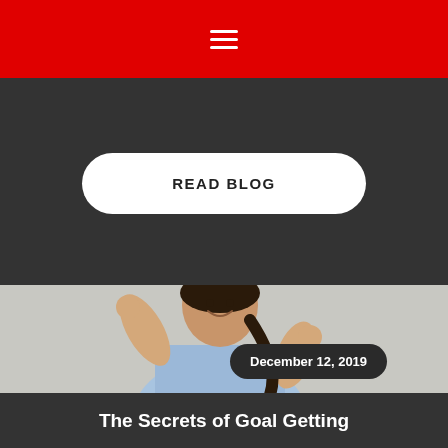☰
READ BLOG
[Figure (photo): Woman in a light blue shirt celebrating with raised fists, smiling, with a long dark braid. Light grey background.]
December 12, 2019
The Secrets of Goal Getting